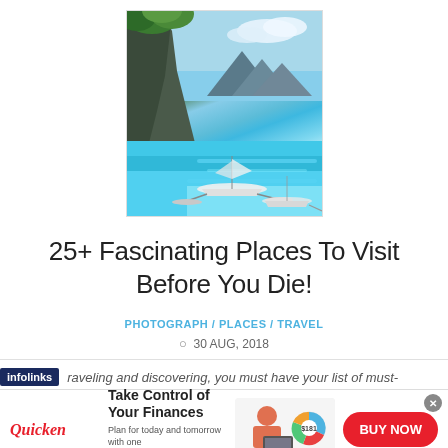[Figure (photo): Scenic tropical island with turquoise water, limestone cliffs covered in greenery, and traditional boats floating near the shore]
25+ Fascinating Places To Visit Before You Die!
PHOTOGRAPH / PLACES / TRAVEL
30 AUG, 2018
raveling and discovering, you must have your list of must-
[Figure (infographic): Quicken advertisement banner: Take Control of Your Finances. Plan for today and tomorrow with one solution to manage all your finances. BUY NOW button.]